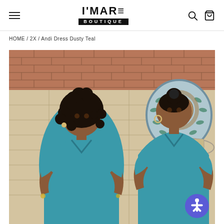I'MARE BOUTIQUE
HOME / 2X / Andi Dress Dusty Teal
[Figure (photo): Two women wearing dusty teal short-sleeve v-neck dresses, standing in front of a stone wall with a decorative mosaic lion fountain. Left woman has curly hair, right woman has hair up.]